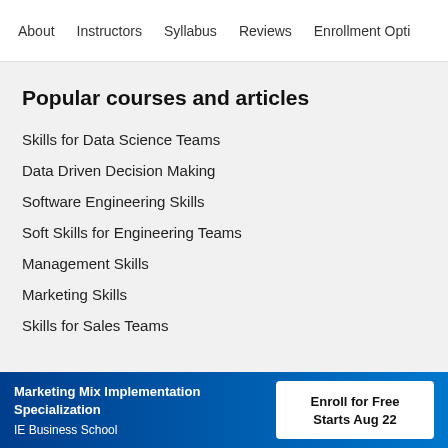About   Instructors   Syllabus   Reviews   Enrollment Opti
Popular courses and articles
Skills for Data Science Teams
Data Driven Decision Making
Software Engineering Skills
Soft Skills for Engineering Teams
Management Skills
Marketing Skills
Skills for Sales Teams
Marketing Mix Implementation Specialization
IE Business School
Enroll for Free
Starts Aug 22